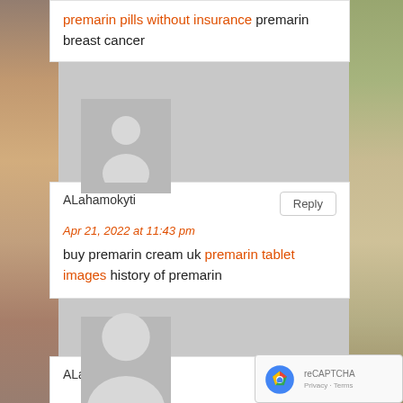premarin pills without insurance premarin breast cancer
[Figure (photo): User avatar placeholder image (gray silhouette)]
ALahamokyti
Apr 21, 2022 at 11:43 pm
buy premarin cream uk premarin tablet images history of premarin
[Figure (photo): User avatar placeholder image (gray silhouette)]
ALahamokylt